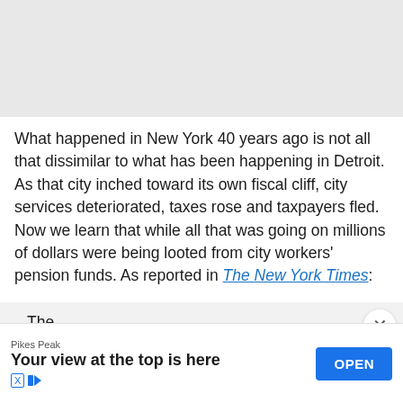[Figure (other): Gray placeholder area at top of page]
What happened in New York 40 years ago is not all that dissimilar to what has been happening in Detroit. As that city inched toward its own fiscal cliff, city services deteriorated, taxes rose and taxpayers fled. Now we learn that while all that was going on millions of dollars were being looted from city workers' pension funds. As reported in The New York Times:
The... supplements to workers not yet retired and
[Figure (other): Advertisement banner: Pikes Peak - Your view at the top is here - OPEN button]